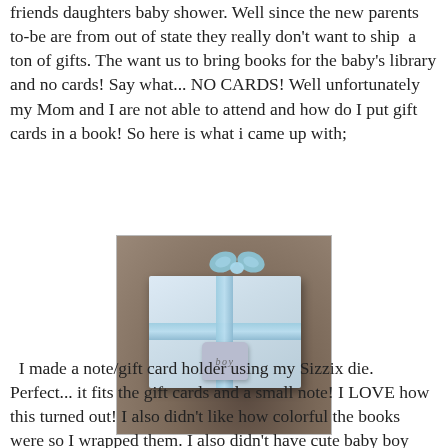friends daughters baby shower. Well since the new parents to-be are from out of state they really don't want to ship a ton of gifts. The want us to bring books for the baby's library and no cards! Say what... NO CARDS! Well unfortunately my Mom and I are not able to attend and how do I put gift cards in a book! So here is what i came up with;
[Figure (photo): A gift-wrapped box with blue and white patterned wrapping paper, tied with a light blue satin ribbon and bow. A decorative tag spelling 'boy' is attached to the ribbon. The box sits on a dark textured surface.]
I made a note/gift card holder using my Sizzix die. Perfect... it fits the gift cards and a small note! I LOVE how this turned out! I also didn't like how colorful the books were so I wrapped them. I also didn't have cute baby boy wrapping paper so I decided to create my own. I didn't have plain white wrapping paper so I took butcher paper and stamped